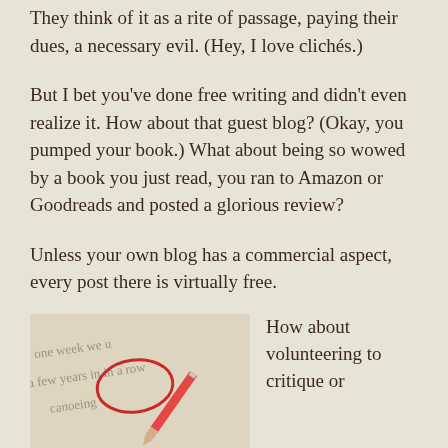They think of it as a rite of passage, paying their dues, a necessary evil. (Hey, I love clichés.)
But I bet you've done free writing and didn't even realize it. How about that guest blog? (Okay, you pumped your book.) What about being so wowed by a book you just read, you ran to Amazon or Goodreads and posted a glorious review?
Unless your own blog has a commercial aspect, every post there is virtually free.
[Figure (photo): Close-up photo of a document with handwritten text being edited, with a red pencil marking corrections including a circled word.]
How about volunteering to critique or